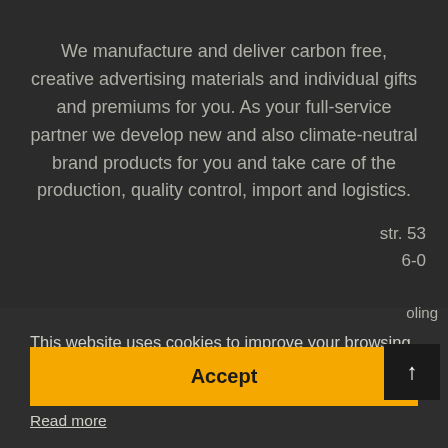We manufacture and deliver carbon free, creative advertising materials and individual gifts and premiums for you. As your full-service partner we develop new and also climate-neutral brand products for you and take care of the production, quality control, import and logistics.
str. 53
6-0
This website uses cookies to improve your browsing experience. By continuing to use the site, you agree to the privacy policy.
Read more
Accept
oling